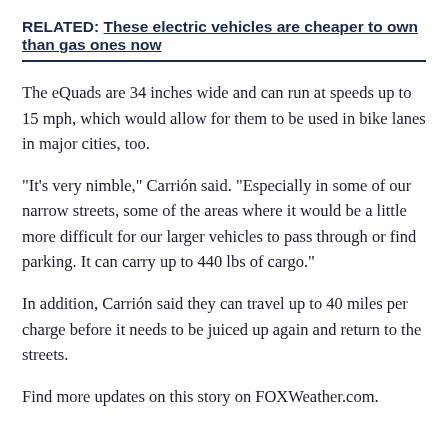RELATED: These electric vehicles are cheaper to own than gas ones now
The eQuads are 34 inches wide and can run at speeds up to 15 mph, which would allow for them to be used in bike lanes in major cities, too.
"It's very nimble," Carrión said. "Especially in some of our narrow streets, some of the areas where it would be a little more difficult for our larger vehicles to pass through or find parking. It can carry up to 440 lbs of cargo."
In addition, Carrión said they can travel up to 40 miles per charge before it needs to be juiced up again and return to the streets.
Find more updates on this story on FOXWeather.com.